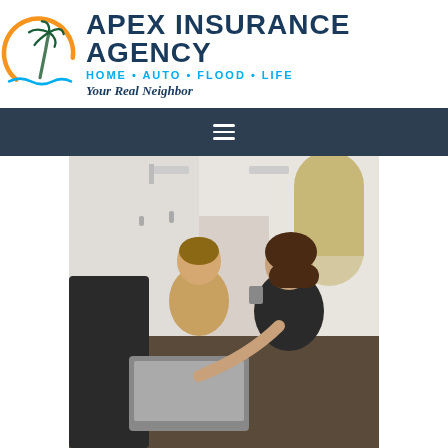[Figure (logo): Apex Insurance Agency logo with palm tree and sun graphic, text: APEX INSURANCE AGENCY, HOME • AUTO • FLOOD • LIFE, Your Real Neighbor]
[Figure (photo): Two young women sitting at a table, one pointing at a laptop screen, both smiling, in a bright interior with arched window]